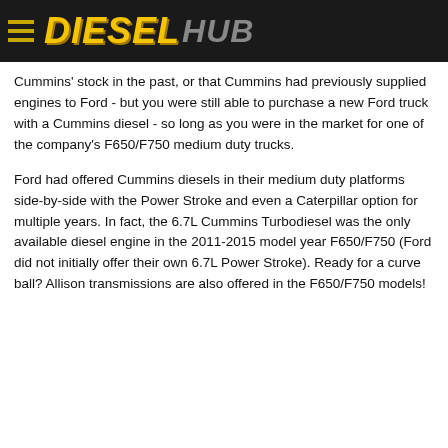DIESEL HUB
Cummins' stock in the past, or that Cummins had previously supplied engines to Ford - but you were still able to purchase a new Ford truck with a Cummins diesel - so long as you were in the market for one of the company's F650/F750 medium duty trucks.
Ford had offered Cummins diesels in their medium duty platforms side-by-side with the Power Stroke and even a Caterpillar option for multiple years. In fact, the 6.7L Cummins Turbodiesel was the only available diesel engine in the 2011-2015 model year F650/F750 (Ford did not initially offer their own 6.7L Power Stroke). Ready for a curve ball? Allison transmissions are also offered in the F650/F750 models!